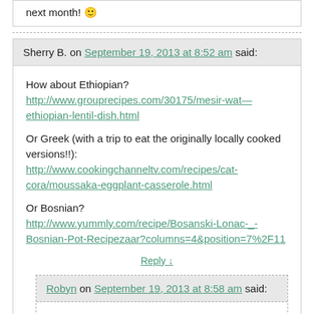next month! 🙂
Sherry B. on September 19, 2013 at 8:52 am said:
How about Ethiopian?
http://www.grouprecipes.com/30175/mesir-wat—ethiopian-lentil-dish.html

Or Greek (with a trip to eat the originally locally cooked versions!!):
http://www.cookingchanneltv.com/recipes/cat-cora/moussaka-eggplant-casserole.html

Or Bosnian?
http://www.yummly.com/recipe/Bosanski-Lonac-_-Bosnian-Pot-Recipezaar?columns=4&position=7%2F11
Reply ↓
Robyn on September 19, 2013 at 8:58 am said:
I'm not crazy about lentils or eggplant, but I could get behind that Bosnian recipe!